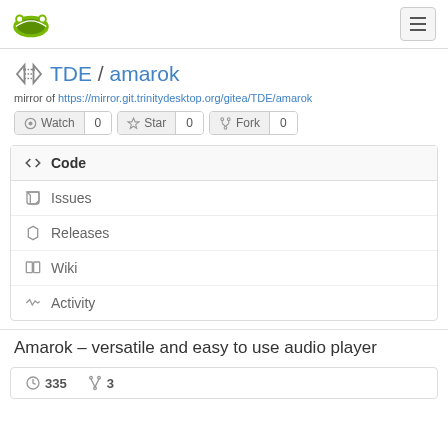Gitea navigation bar with logo and hamburger menu
TDE / amarok
mirror of https://mirror.git.trinitydesktop.org/gitea/TDE/amarok
Watch 0  Star 0  Fork 0
Code
Issues
Releases
Wiki
Activity
Amarok – versatile and easy to use audio player
335  3